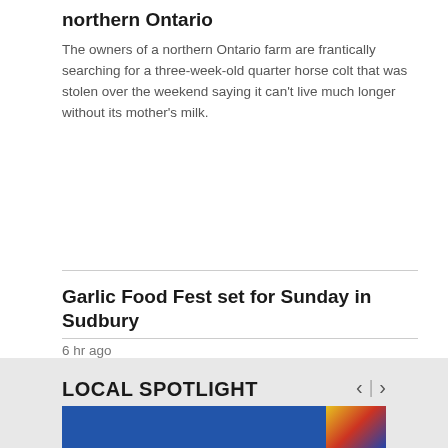northern Ontario
The owners of a northern Ontario farm are frantically searching for a three-week-old quarter horse colt that was stolen over the weekend saying it can't live much longer without its mother's milk.
Garlic Food Fest set for Sunday in Sudbury
6 hr ago
North Bay pool players head to Canadian Amateur Championships
6 hr ago
LOCAL SPOTLIGHT